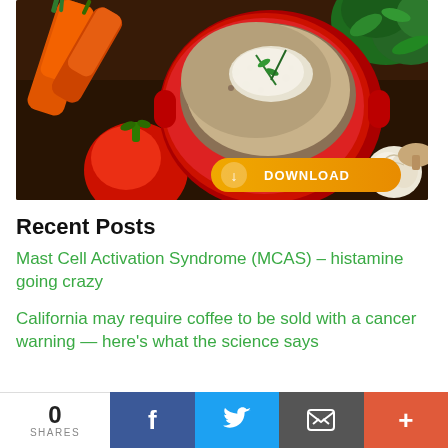[Figure (photo): Food photo showing a red pot/casserole dish filled with grains and herbs, surrounded by carrots, a tomato, fresh herbs, and garlic on a dark wooden surface, with a yellow Download button overlay]
Recent Posts
Mast Cell Activation Syndrome (MCAS) – histamine going crazy
California may require coffee to be sold with a cancer warning — here's what the science says
Lupus Solutions – What's Missing
0 SHARES
f
Twitter share
Email share
+